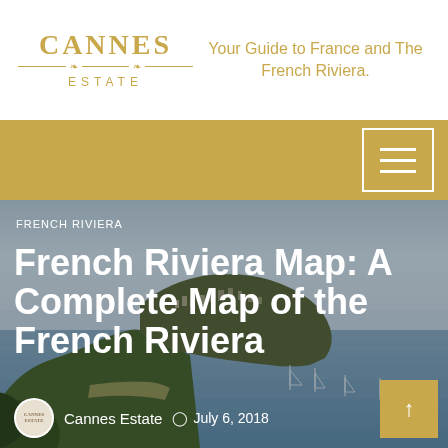[Figure (logo): Cannes Estate logo with gold text and decorative divider]
Your Guide to France and The French Riviera.
[Figure (photo): Aerial/elevated coastal view of the French Riviera showing a bay with sailboats, hillside with buildings, and blue sky]
FRENCH RIVIERA
French Riviera Map: A Complete Map of the French Riviera
Cannes Estate   July 6, 2018